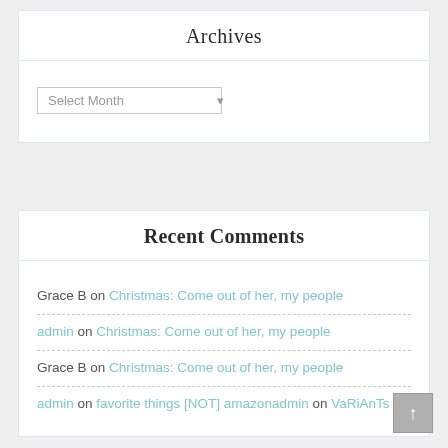Archives
Select Month
Recent Comments
Grace B on Christmas: Come out of her, my people
admin on Christmas: Come out of her, my people
Grace B on Christmas: Come out of her, my people
admin on favorite things [NOT] amazonadmin on VaRiAnTs